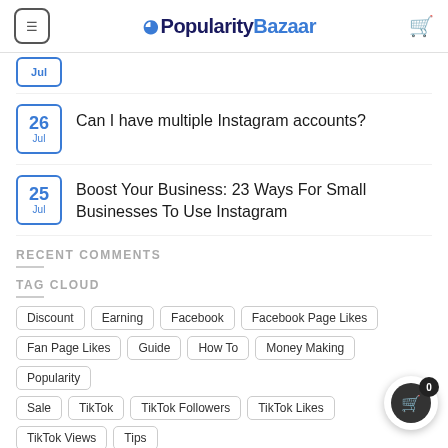PopularityBazaar
Jul (partial)
26 Jul — Can I have multiple Instagram accounts?
25 Jul — Boost Your Business: 23 Ways For Small Businesses To Use Instagram
RECENT COMMENTS
TAG CLOUD
Discount
Earning
Facebook
Facebook Page Likes
Fan Page Likes
Guide
How To
Money Making
Popularity
Sale
TikTok
TikTok Followers
TikTok Likes
TikTok Views
Tips